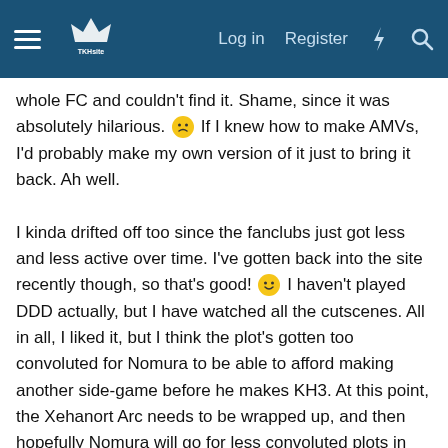TKHsite navigation bar with Log in, Register, and icon buttons
whole FC and couldn't find it. Shame, since it was absolutely hilarious. 🙁 If I knew how to make AMVs, I'd probably make my own version of it just to bring it back. Ah well.

I kinda drifted off too since the fanclubs just got less and less active over time. I've gotten back into the site recently though, so that's good! 🙂 I haven't played DDD actually, but I have watched all the cutscenes. All in all, I liked it, but I think the plot's gotten too convoluted for Nomura to be able to afford making another side-game before he makes KH3. At this point, the Xehanort Arc needs to be wrapped up, and then hopefully Nomura will go for less convoluted plots in future arcs. xD
Theart · Mar 25, 2013
Hey Org, how've ya been? 🙂 I was going through the old SoNami FC and taking a stroll down Memory Lane. ;w; I'm also trying to find that old AMV of Axel telling Sora how to flirt/ask Namine out on a date, while Marluxia and Larxene are doing the